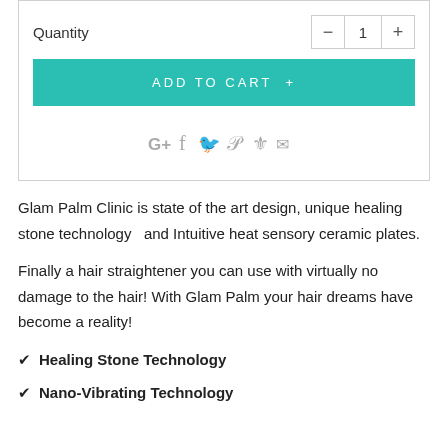Quantity
ADD TO CART +
Glam Palm Clinic is state of the art design, unique healing stone technology  and Intuitive heat sensory ceramic plates.
Finally a hair straightener you can use with virtually no damage to the hair! With Glam Palm your hair dreams have become a reality!
✔ Healing Stone Technology
✔ Nano-Vibrating Technology